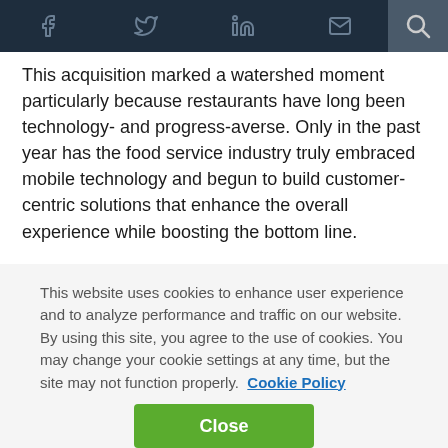Navigation bar with social icons: Facebook, Twitter, LinkedIn, Email, Search
This acquisition marked a watershed moment particularly because restaurants have long been technology- and progress-averse. Only in the past year has the food service industry truly embraced mobile technology and begun to build customer-centric solutions that enhance the overall experience while boosting the bottom line.
This is essential in a grueling, low-margin industry; competition is fierce, dollars are scarce, and customer experience is paramount to profitability.
This website uses cookies to enhance user experience and to analyze performance and traffic on our website. By using this site, you agree to the use of cookies. You may change your cookie settings at any time, but the site may not function properly.  Cookie Policy